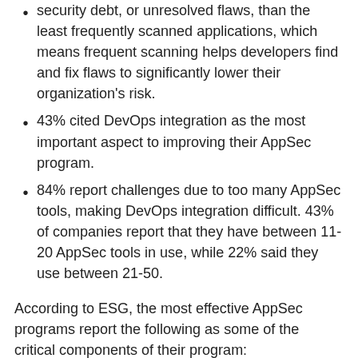security debt, or unresolved flaws, than the least frequently scanned applications, which means frequent scanning helps developers find and fix flaws to significantly lower their organization's risk.
43% cited DevOps integration as the most important aspect to improving their AppSec program.
84% report challenges due to too many AppSec tools, making DevOps integration difficult. 43% of companies report that they have between 11-20 AppSec tools in use, while 22% said they use between 21-50.
According to ESG, the most effective AppSec programs report the following as some of the critical components of their program:
Application security is highly integrated into the CI/CD toolchain.